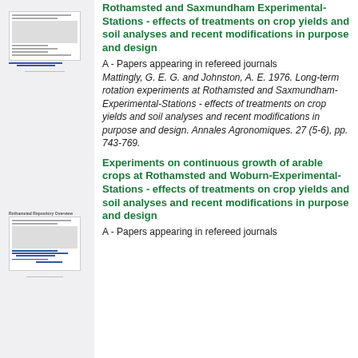[Figure (illustration): Thumbnail image of a document page showing text and underlined blue hyperlinks on a light grey background]
Rothamsted and Saxmundham Experimental-Stations - effects of treatments on crop yields and soil analyses and recent modifications in purpose and design
A - Papers appearing in refereed journals
Mattingly, G. E. G. and Johnston, A. E. 1976. Long-term rotation experiments at Rothamsted and Saxmundham-Experimental-Stations - effects of treatments on crop yields and soil analyses and recent modifications in purpose and design. Annales Agronomiques. 27 (5-6), pp. 743-769.
[Figure (illustration): Thumbnail image of a second document page with title 'Rothamsted Repository Overview' and blue hyperlinks]
Experiments on continuous growth of arable crops at Rothamsted and Woburn-Experimental-Stations - effects of treatments on crop yields and soil analyses and recent modifications in purpose and design
A - Papers appearing in refereed journals